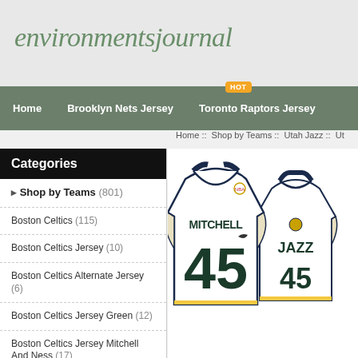environmentsjournal
Home | Brooklyn Nets Jersey | Toronto Raptors Jersey
Home :: Shop by Teams :: Utah Jazz :: Ut
Categories
Shop by Teams (801)
Boston Celtics (115)
Boston Celtics Jersey (10)
Boston Celtics Alternate Jersey (6)
Boston Celtics Jersey Green (12)
Boston Celtics Jersey Mitchell And Ness (17)
Boston Celtics St Patrick'S Jersey (7)
[Figure (photo): Utah Jazz #45 Mitchell basketball jerseys, showing front and back views — white jerseys with dark navy/blue trim, 'MITCHELL 45' on front, 'JAZZ 45' on back, Nike branding visible]